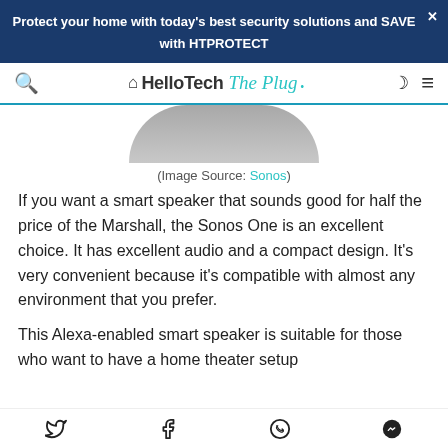Protect your home with today's best security solutions and SAVE with HTPROTECT
[Figure (screenshot): HelloTech The Plug website navigation bar with search icon, logo, moon/dark mode icon, and hamburger menu icon]
[Figure (photo): Bottom portion of a gray circular speaker (Sonos One) cropped at the top]
(Image Source: Sonos)
If you want a smart speaker that sounds good for half the price of the Marshall, the Sonos One is an excellent choice. It has excellent audio and a compact design. It's very convenient because it's compatible with almost any environment that you prefer.
This Alexa-enabled smart speaker is suitable for those who want to have a home theater setup
Social share icons: Twitter, Facebook, WhatsApp, Messenger